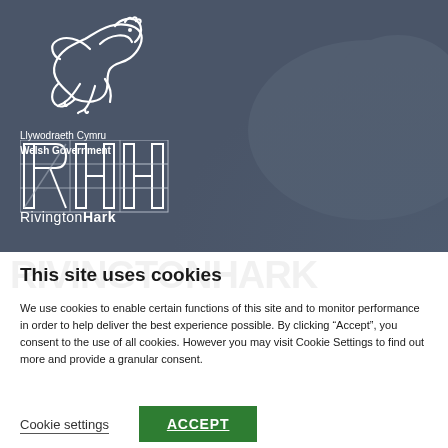[Figure (logo): Welsh Government dragon logo with text 'Llywodraeth Cymru Welsh Government' in white on dark slate background]
[Figure (logo): RivingtonHark logo - geometric RH monogram in white on dark slate background with company name below]
This site uses cookies
We use cookies to enable certain functions of this site and to monitor performance in order to help deliver the best experience possible. By clicking “Accept”, you consent to the use of all cookies. However you may visit Cookie Settings to find out more and provide a granular consent.
Cookie settings
ACCEPT